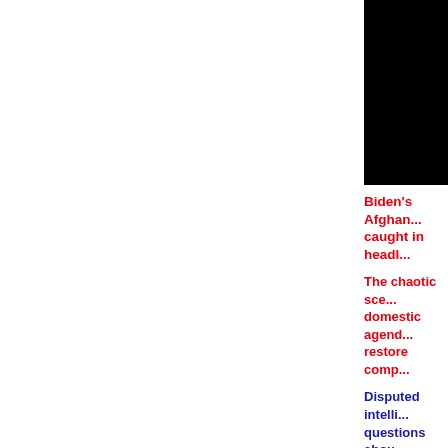[Figure (photo): Black rectangular image, partially visible on right side of page]
Biden's Afghan... caught in headl...
The chaotic sce... domestic agend... restore comp...
Disputed intelli... questions abou... equipment tha... of military Hum... goggles. The se... the Taliban cou... months the Wh...